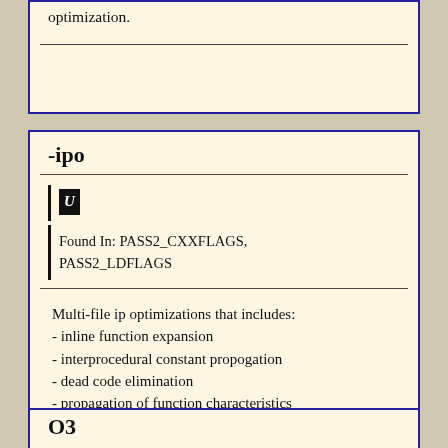optimization.
-ipo
U
Found In: PASS2_CXXFLAGS, PASS2_LDFLAGS
Multi-file ip optimizations that includes:
- inline function expansion
- interprocedural constant propogation
- dead code elimination
- propagation of function characteristics
- passing arguments in registers
- loop-invariant code motion
O3